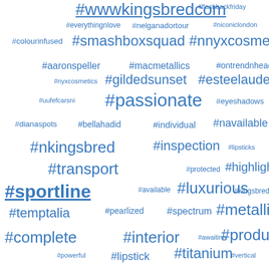[Figure (infographic): Word cloud / tag cloud of hashtags in various font sizes, all in blue color on white background. Larger tags indicate higher frequency/importance. Tags include: #wwwkingsbredcom, #smashboxsquad, #nnyxcosmetics, #sportline, #transport, #passionate, #metallic, #products, #complete, #interior, #infinity, #sunshine, #radiator, #snapback, #version, #nregram, #mascara, #macshop, #maybach, #special, #current, #vibrant, and many smaller hashtags.]